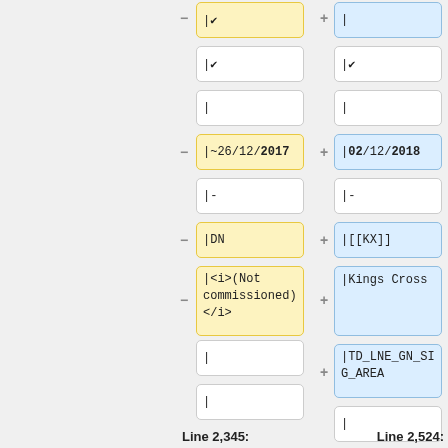[Figure (screenshot): Wiki diff view showing two columns of wikitext changes. Left column (old) shows deleted lines highlighted yellow with minus signs, right column (new) shows added lines highlighted blue with plus signs. Rows include: |&#10004; vs |, |&#10004; vs |&#10004;, | vs |, |~26/12/2017 vs |02/12/2018, |- vs |-, |DN vs |[[KX]], |<i>(Not commissioned)</i> vs |Kings Cross, (new) |TD_LNE_GN_SIG_AREA, | vs |, | vs |, Line 2,345: vs Line 2,524:]
Line 2,345:          Line 2,524: